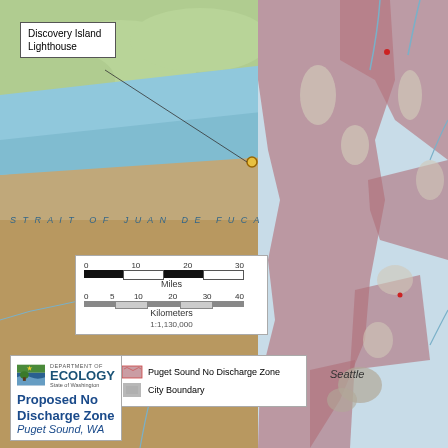[Figure (map): Map showing Puget Sound, WA with a proposed No Discharge Zone highlighted in pink/mauve overlay. Includes Discovery Island Lighthouse callout near the Strait of Juan de Fuca, scale bar in miles and kilometers (1:1,130,000), compass rose, legend showing Puget Sound No Discharge Zone and City Boundary symbols, and a Washington State Department of Ecology logo with title 'Proposed No Discharge Zone, Puget Sound, WA'. Seattle is labeled on the map. The strait of Juan de Fuca is labeled in the water area.]